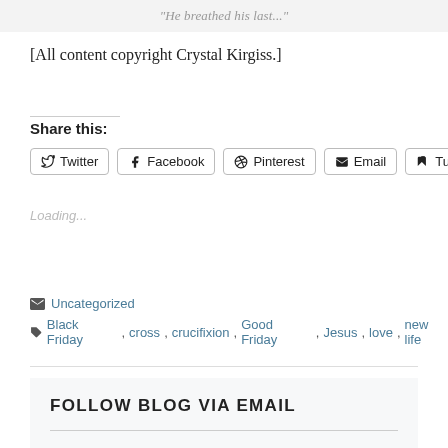"He breathed his last..."
[All content copyright Crystal Kirgiss.]
Share this:
Twitter  Facebook  Pinterest  Email  Tumblr
Loading...
Uncategorized
Black Friday, cross, crucifixion, Good Friday, Jesus, love, new life
FOLLOW BLOG VIA EMAIL